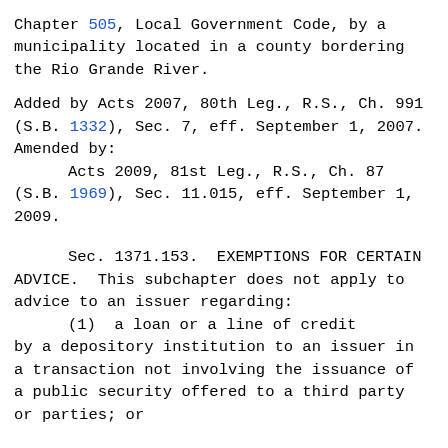Chapter 505, Local Government Code, by a municipality located in a county bordering the Rio Grande River.
Added by Acts 2007, 80th Leg., R.S., Ch. 991 (S.B. 1332), Sec. 7, eff. September 1, 2007. Amended by:
	Acts 2009, 81st Leg., R.S., Ch. 87 (S.B. 1969), Sec. 11.015, eff. September 1, 2009.
Sec. 1371.153.  EXEMPTIONS FOR CERTAIN ADVICE.  This subchapter does not apply to advice to an issuer regarding:
	(1)  a loan or a line of credit by a depository institution to an issuer in a transaction not involving the issuance of a public security offered to a third party or parties; or